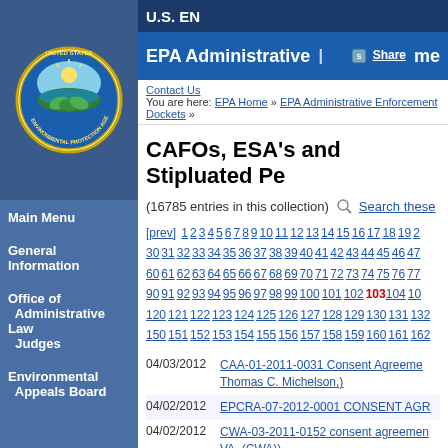[Figure (logo): EPA United States Environmental Protection Agency circular seal logo]
U.S. EN
EPA Administrative | Share me
Contact Us
You are here: EPA Home >> EPA Administrative Enforcement Dockets >>
CAFOs, ESA's and Stipluated Pe
(16785 entries in this collection) Search these
[prev] 1 2 3 4 5 6 7 8 9 10 11 12 13 14 15 16 17 18 19 2 30 31 32 33 34 35 36 37 38 39 40 41 42 43 44 45 46 47 60 61 62 63 64 65 66 67 68 69 70 71 72 73 74 75 76 77 90 91 92 93 94 95 96 97 98 99 100 101 102 103 104 10 120 121 122 123 124 125 126 127 128 129 130 131 132 150 151 152 153 154 155 156 157 158 159 160 161 162
04/03/2012  CAA-01-2011-0031 Consent Agreement Thomas C. Michelson,)
04/02/2012  EPCRA-07-2012-0001 CONSENT AGR
04/02/2012  CWA-03-2011-0152 consent agreement VA, (CWA))
04/02/2012  CWA-02-2011-3359 Consent agreement S.E.)
04/02/2012  CAA-05-2012-0017 Consent Agreement
Main Menu
General Information
Office of Administrative Law Judges
Environmental Appeals Board